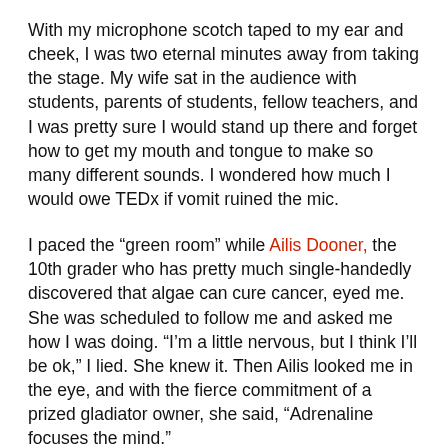With my microphone scotch taped to my ear and cheek, I was two eternal minutes away from taking the stage. My wife sat in the audience with students, parents of students, fellow teachers, and I was pretty sure I would stand up there and forget how to get my mouth and tongue to make so many different sounds. I wondered how much I would owe TEDx if vomit ruined the mic.
I paced the “green room” while Ailis Dooner, the 10th grader who has pretty much single-handedly discovered that algae can cure cancer, eyed me. She was scheduled to follow me and asked me how I was doing. “I’m a little nervous, but I think I’ll be ok,” I lied. She knew it. Then Ailis looked me in the eye, and with the fierce commitment of a prized gladiator owner, she said, “Adrenaline focuses the mind.”
I didn’t forget everything. My mouth worked. I showed my slides. People clapped.
I’m pretty sure I now have a little better understanding of what it’s like to be one of my students. I’m reminded about how scary this assignment can be, but I still don’t fully understand it. I’m a grown-up who has lots of experience talking in front of large groups of people. I don’t consider